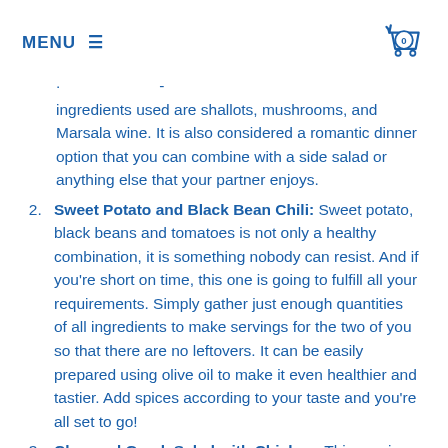MENU ☰
ingredients used are shallots, mushrooms, and Marsala wine. It is also considered a romantic dinner option that you can combine with a side salad or anything else that your partner enjoys.
Sweet Potato and Black Bean Chili: Sweet potato, black beans and tomatoes is not only a healthy combination, it is something nobody can resist. And if you're short on time, this one is going to fulfill all your requirements. Simply gather just enough quantities of all ingredients to make servings for the two of you so that there are no leftovers. It can be easily prepared using olive oil to make it even healthier and tastier. Add spices according to your taste and you're all set to go!
Chopped Greek Salad with Chicken: This one is extremely easy to make because all you have to